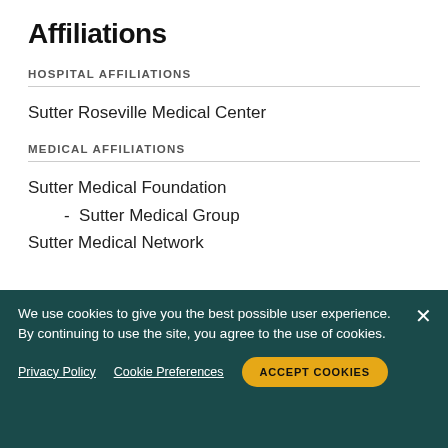Affiliations
HOSPITAL AFFILIATIONS
Sutter Roseville Medical Center
MEDICAL AFFILIATIONS
Sutter Medical Foundation
- Sutter Medical Group
Sutter Medical Network
We use cookies to give you the best possible user experience. By continuing to use the site, you agree to the use of cookies.
Privacy Policy   Cookie Preferences   ACCEPT COOKIES